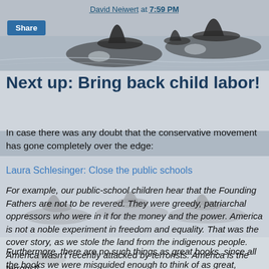[Figure (photo): Background image of orca whale fins rising from the ocean water, multiple killer whales visible]
David Neiwert at 7:59 PM
Share
Next up: Bring back child labor!
In case there was any doubt that the conservative movement has gone completely over the edge:
Laura Schlesinger: Close the public schools
For example, our public-school children hear that the Founding Fathers are not to be revered. They were greedy, patriarchal oppressors who were in it for the money and the power. America is not a noble experiment in freedom and equality. That was the cover story, as we stole the land from the indigenous people. America wasn't recently attacked by terrorists. America is the terrorist!
Furthermore, there are no such things as great books, since all the books we were misguided enough to think of as great,